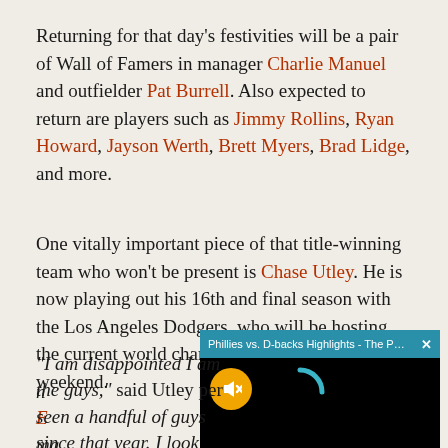Returning for that day's festivities will be a pair of Wall of Famers in manager Charlie Manuel and outfielder Pat Burrell. Also expected to return are players such as Jimmy Rollins, Ryan Howard, Jayson Werth, Brett Myers, Brad Lidge, and more.
One vitally important piece of that title-winning team who won't be present is Chase Utley. He is now playing out his 16th and final season with the Los Angeles Dodgers, who will be hosting the current world champion Houston Astros that weekend.
[Figure (screenshot): Video player overlay showing 'Phillies vs. D-backs Highlights - The Phill...' with a teal header bar, close button (x), black video area, orange mute button with speaker-off icon, and a teal loading spinner on black background.]
"I am disappointed I am n[ot able to be there with] the guys," said Utley per [ESPN]. "[I've] seen a handful of guys ma[ke it back] since that year. I look forw[ard to catching up] and seeing what they're d[oing."]